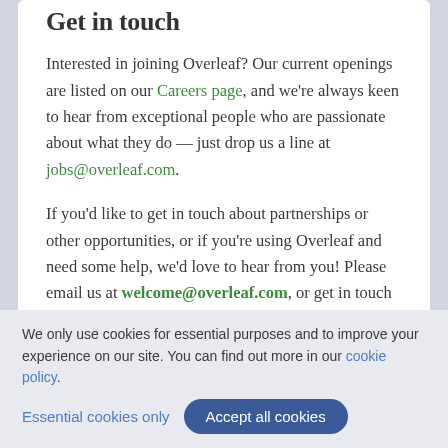Get in touch
Interested in joining Overleaf? Our current openings are listed on our Careers page, and we're always keen to hear from exceptional people who are passionate about what they do — just drop us a line at jobs@overleaf.com.
If you'd like to get in touch about partnerships or other opportunities, or if you're using Overleaf and need some help, we'd love to hear from you! Please email us at welcome@overleaf.com, or get in touch via our contact page.
We only use cookies for essential purposes and to improve your experience on our site. You can find out more in our cookie policy.